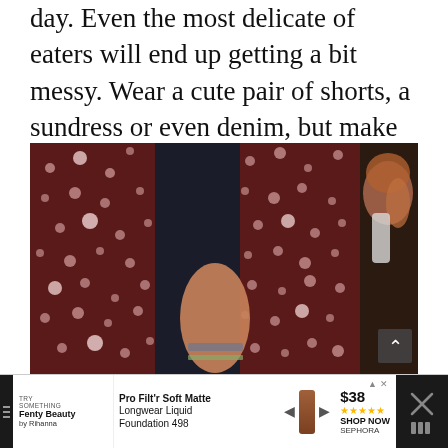day. Even the most delicate of eaters will end up getting a bit messy. Wear a cute pair of shorts, a sundress or even denim, but make sure that they are darker colors to mask if you do get a few splatters on you.
[Figure (photo): Close-up photo of a person wearing a dark maroon/burgundy polka dot shirt or jacket, with arm visible and bracelets, holding something. Another person with reddish hair is visible in the background on the right. A scroll-up button with caret icon is visible in the bottom-right corner of the image.]
[Figure (infographic): Advertisement banner for Fenty Beauty by Rihanna showing Pro Filt'r Soft Matte Longwear Liquid Foundation 498 priced at $38 with 4-star rating and SHOP NOW call to action for Sephora.]